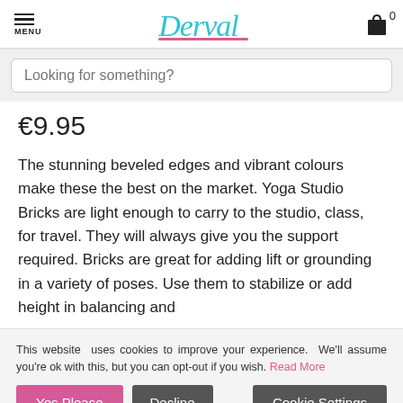MENU | Derval | 0
Looking for something?
€9.95
The stunning beveled edges and vibrant colours make these the best on the market. Yoga Studio Bricks are light enough to carry to the studio, class, for travel. They will always give you the support required. Bricks are great for adding lift or grounding in a variety of poses. Use them to stabilize or add height in balancing and
This website uses cookies to improve your experience. We'll assume you're ok with this, but you can opt-out if you wish. Read More
Yes Please | Decline | Cookie Settings